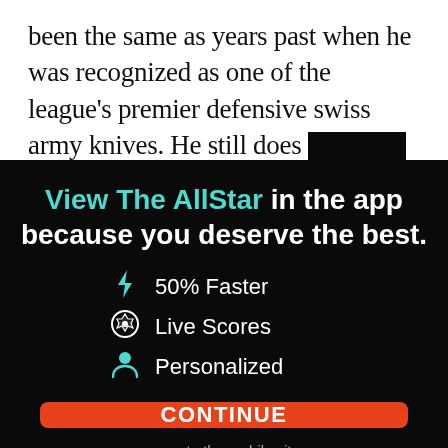been the same as years past when he was recognized as one of the league's premier defensive swiss army knives. He still does provide a bit of defensive versatility, though,
View The AllStar in the app because you deserve the best.
⚡ 50% Faster
⚽ Live Scores
👤 Personalized
CONTINUE
or go to the mobile site